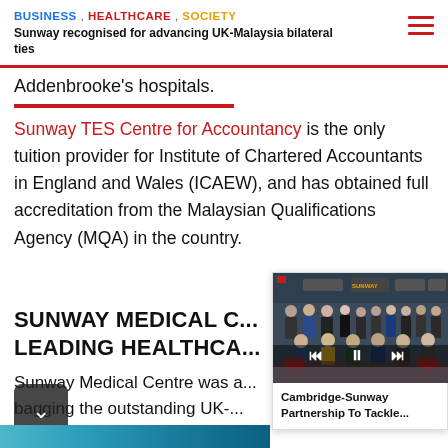BUSINESS , HEALTHCARE , SOCIETY
Sunway recognised for advancing UK-Malaysia bilateral ties
Addenbrooke's hospitals.
Sunway TES Centre for Accountancy is the only tuition provider for Institute of Chartered Accountants in England and Wales (ICAEW), and has obtained full accreditation from the Malaysian Qualifications Agency (MQA) in the country.
SUNWAY MEDICAL C... LEADING HEALTHCA...
Sunway Medical Centre was a... bagging the outstanding UK-... Award.
[Figure (photo): Group photo of people seated and standing at a table, with banners reading Sunway Medical Centre and other institutions in the background. Video player controls overlaid at bottom. Caption reads: Cambridge-Sunway Partnership To Tackle...]